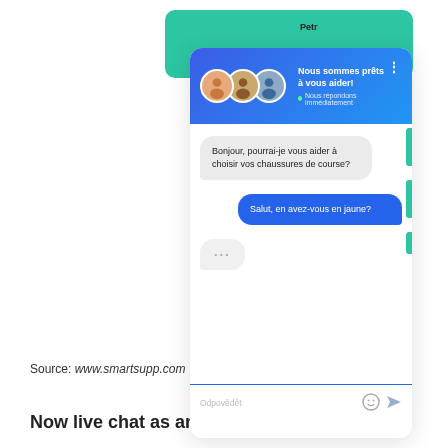[Figure (screenshot): Screenshot of a live chat widget (Smartsupp) showing a conversation in French. The chat header shows 'Nous sommes prêts à vous aider!' with a green status dot and 'Nous répondons immédiatement'. A message bubble on the left reads 'Bonjour, pourrai-je vous aider à choisir vos chaussures de course?' and a blue bubble on the right reads 'Salut, en avez-vous en jaune?' A typing indicator '...' is shown at the bottom. The input field shows 'Odpovědět' with emoji and send icons.]
Source: www.smartsupp.com
Now live chat as an additional benefit to our